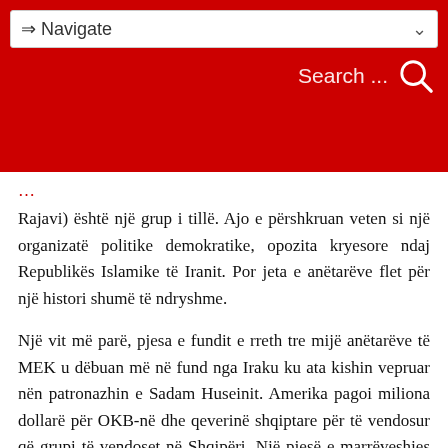⇒ Navigate   Search ...
Rajavi) është një grup i tillë. Ajo e përshkruan veten si një organizatë politike demokratike, opozita kryesore ndaj Republikës Islamike të Iranit. Por jeta e anëtarëve flet për një histori shumë të ndryshme.
Një vit më parë, pjesa e fundit e rreth tre mijë anëtarëve të MEK u dëbuan më në fund nga Iraku ku ata kishin vepruar nën patronazhin e Sadam Huseinit. Amerika pagoi miliona dollarë për OKB-në dhe qeverinë shqiptare për të vendosur që grupi të vendoset në Shqipëri. Një pjesë e marrëveshjes ishte krijimi i një programi de-radikalizimi për kthimin e anëtarëve në jetën ...